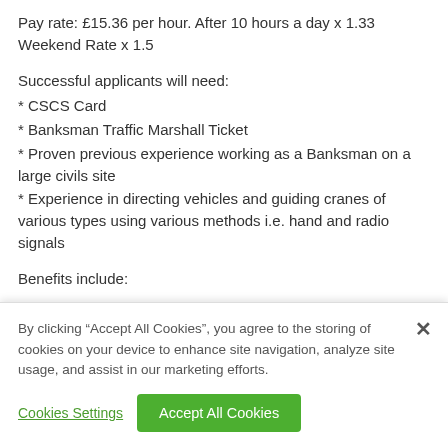Pay rate: £15.36 per hour. After 10 hours a day x 1.33 Weekend Rate x 1.5
Successful applicants will need:
* CSCS Card
* Banksman Traffic Marshall Ticket
* Proven previous experience working as a Banksman on a large civils site
* Experience in directing vehicles and guiding cranes of various types using various methods i.e. hand and radio signals
Benefits include:
By clicking “Accept All Cookies”, you agree to the storing of cookies on your device to enhance site navigation, analyze site usage, and assist in our marketing efforts.